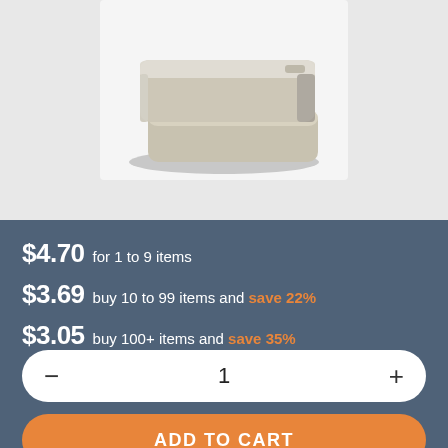[Figure (photo): Product photo of silver/nickel rectangular block magnets stacked, shown on white background]
$4.70 for 1 to 9 items
$3.69 buy 10 to 99 items and save 22%
$3.05 buy 100+ items and save 35%